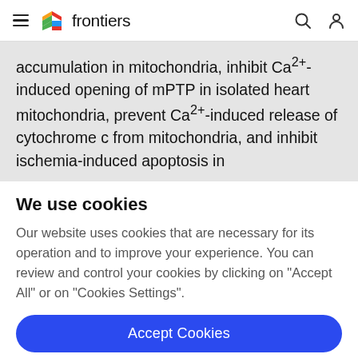frontiers
accumulation in mitochondria, inhibit Ca2+-induced opening of mPTP in isolated heart mitochondria, prevent Ca2+-induced release of cytochrome c from mitochondria, and inhibit ischemia-induced apoptosis in
We use cookies
Our website uses cookies that are necessary for its operation and to improve your experience. You can review and control your cookies by clicking on "Accept All" or on "Cookies Settings".
Accept Cookies
Cookies Settings